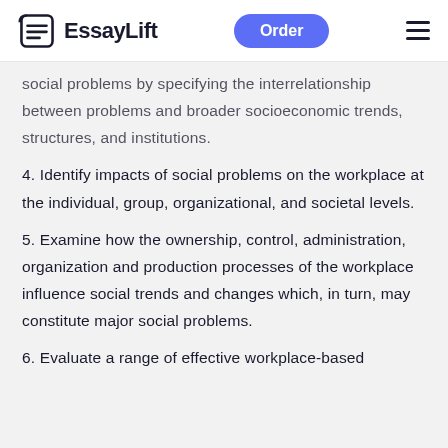EssayLift  Order
social problems by specifying the interrelationship between problems and broader socioeconomic trends, structures, and institutions.
4. Identify impacts of social problems on the workplace at the individual, group, organizational, and societal levels.
5. Examine how the ownership, control, administration, organization and production processes of the workplace influence social trends and changes which, in turn, may constitute major social problems.
6. Evaluate a range of effective workplace-based